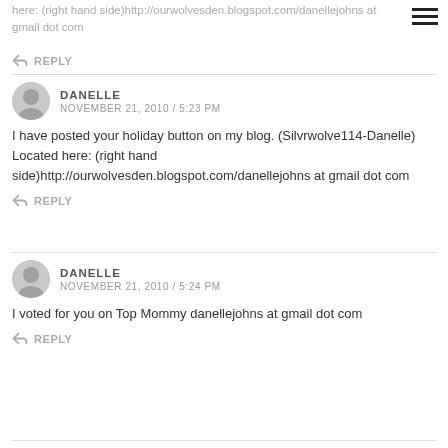here: (right hand side)http://ourwolvesden.blogspot.com/danellejohns at gmail dot com
REPLY
DANELLE
NOVEMBER 21, 2010 / 5:23 PM
I have posted your holiday button on my blog. (Silvrwolve114-Danelle) Located here: (right hand side)http://ourwolvesden.blogspot.com/danellejohns at gmail dot com
REPLY
DANELLE
NOVEMBER 21, 2010 / 5:24 PM
I voted for you on Top Mommy danellejohns at gmail dot com
REPLY